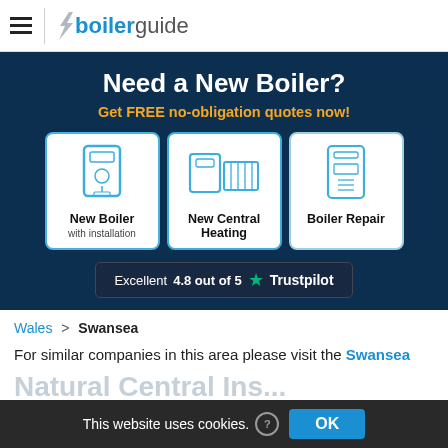boilerguide
Need a New Boiler?
Get FREE no-obligation quotes now!
[Figure (infographic): Three clickable option cards: New Boiler with installation, New Central Heating, Boiler Repair — each with a boiler/heating icon]
Excellent 4.8 out of 5 ★ Trustpilot
Wales > Swansea
For similar companies in this area please visit the Swansea
This website uses cookies. OK